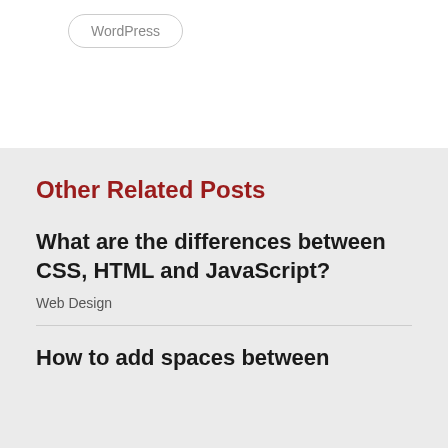WordPress
Other Related Posts
What are the differences between CSS, HTML and JavaScript?
Web Design
How to add spaces between